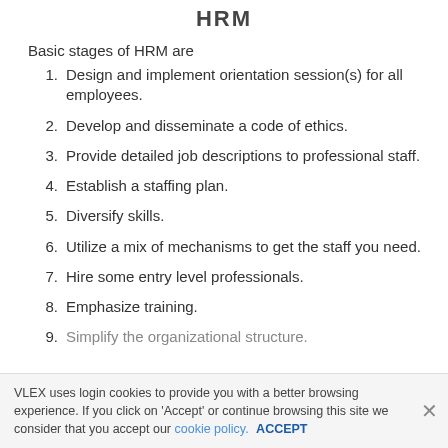HRM
Basic stages of HRM are
Design and implement orientation session(s) for all employees.
Develop and disseminate a code of ethics.
Provide detailed job descriptions to professional staff.
Establish a staffing plan.
Diversify skills.
Utilize a mix of mechanisms to get the staff you need.
Hire some entry level professionals.
Emphasize training.
Simplify the organizational structure.
VLEX uses login cookies to provide you with a better browsing experience. If you click on 'Accept' or continue browsing this site we consider that you accept our cookie policy. ACCEPT